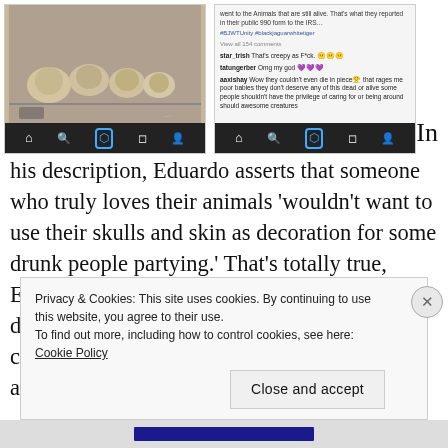[Figure (screenshot): Left Instagram screenshot showing animal skulls/taxidermy display with black navigation bar at bottom]
[Figure (screenshot): Right Instagram screenshot showing comments including #BJWTUnity #blackjaguarwhitetiger with user comments and black navigation bar]
In his description, Eduardo asserts that someone who truly loves their animals ‘wouldn’t want to use their skulls and skin as decoration for some drunk people partying.’ That’s totally true, Eduardo, which is why those skulls aren’t for display but for learning. Also, the curio cabinets (an inside source tells me that there are only
Privacy & Cookies: This site uses cookies. By continuing to use this website, you agree to their use.
To find out more, including how to control cookies, see here: Cookie Policy

Close and accept